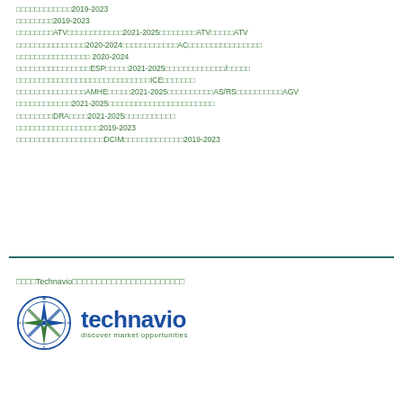□□□□□□□□□□□□2019-2023
□□□□□□□□2019-2023
□□□□□□□□ATV□□□□□□□□□□□□2021-2025□□□□□□□□ATV□□□□□ATV
□□□□□□□□□□□□□□□2020-2024□□□□□□□□□□□□AC□□□□□□□□□□□□□□□□
□□□□□□□□□□□□□□□□ 2020-2024
□□□□□□□□□□□□□□□□ESP□□□□□2021-2025□□□□□□□□□□□□□/□□□□□
□□□□□□□□□□□□□□□□□□□□□□□□□□□□□ICE□□□□□□□
□□□□□□□□□□□□□□□AMHE□□□□□2021-2025□□□□□□□□□□AS/RS□□□□□□□□□□AGV
□□□□□□□□□□□□2021-2025□□□□□□□□□□□□□□□□□□□□□□□
□□□□□□□□DRA□□□□2021-2025□□□□□□□□□□□
□□□□□□□□□□□□□□□□□□2019-2023
□□□□□□□□□□□□□□□□□□□DCIM□□□□□□□□□□□□□2019-2023
□□□□Technavio□□□□□□□□□□□□□□□□□□□□□□□
[Figure (logo): Technavio logo with compass rose icon and tagline 'discover market opportunities']